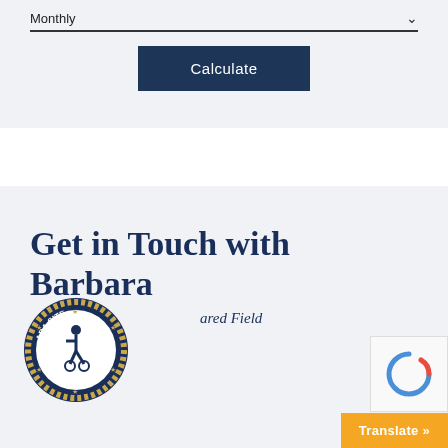Monthly
Calculate
Get in Touch with Barbara
* Required Field
[Figure (logo): ADA Site Compliance badge with wheelchair accessibility symbol]
Translate »